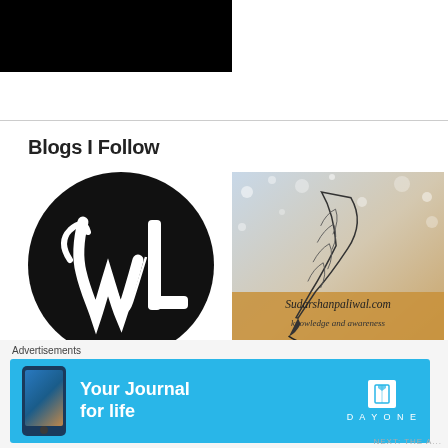[Figure (other): Black redacted/blurred rectangle at the top of the page]
Blogs I Follow
[Figure (logo): Black circular logo with white stylized WL monogram lettering]
[Figure (logo): Sudarshan Paliwal blog logo with feather quill and sparkle background. Text: Sudarshanpaliwal.com, knowledge and awareness]
[Figure (illustration): Partial view of a dark blue/grey circular blog avatar at bottom left, partially visible]
[Figure (illustration): Partial view of a dark circular blog avatar at bottom right, partially visible]
Advertisements
[Figure (screenshot): Day One app advertisement banner: light blue background with phone mockup on left, text 'Your Journal for life' in center, book icon and 'D A Y O N E' logo on right]